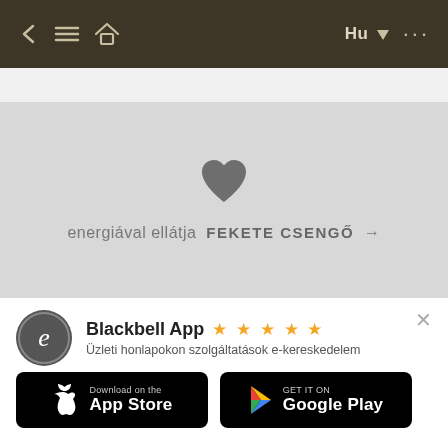[Figure (screenshot): Mobile app navigation bar with dark brown background, back arrow, hamburger menu, home icon on left; language selector 'Hu' with dropdown arrow and ellipsis on right]
[Figure (screenshot): Gray content area with a gray heart icon centered, below text 'energiával ellátja FEKETE CSENGŐ →']
energiával ellátja  FEKETE CSENGŐ →
[Figure (screenshot): Blackbell App promotional banner with logo, 5 star rating, description text, and App Store / Google Play download buttons]
Blackbell App ★★★★★
Üzleti honlapokon szolgáltatások e-kereskedelem
Download on the App Store
GET IT ON Google Play